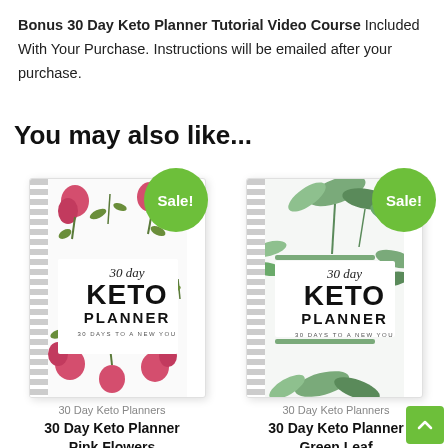Bonus 30 Day Keto Planner Tutorial Video Course Included With Your Purchase. Instructions will be emailed after your purchase.
You may also like...
[Figure (photo): 30 Day Keto Planner Pink Flowers spiral-bound book cover with pink floral decoration and a green 'Sale!' badge]
30 Day Keto Planners
30 Day Keto Planner Pink Flowers
[Figure (photo): 30 Day Keto Planner Green Leaf spiral-bound book cover with green leaf decoration and a green 'Sale!' badge]
30 Day Keto Planners
30 Day Keto Planner Green Leaf